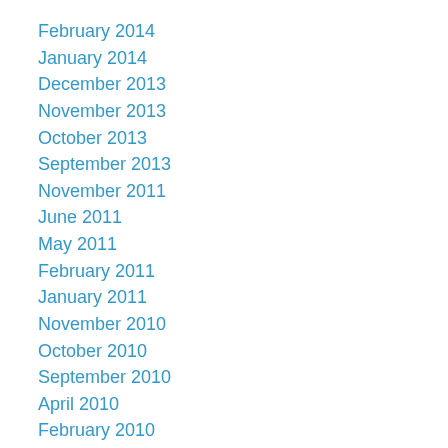February 2014
January 2014
December 2013
November 2013
October 2013
September 2013
November 2011
June 2011
May 2011
February 2011
January 2011
November 2010
October 2010
September 2010
April 2010
February 2010
January 2010
December 2009
November 2009
October 2009